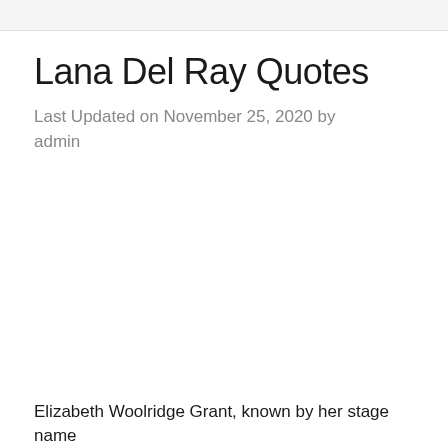Lana Del Ray Quotes
Last Updated on November 25, 2020 by admin
Elizabeth Woolridge Grant, known by her stage name